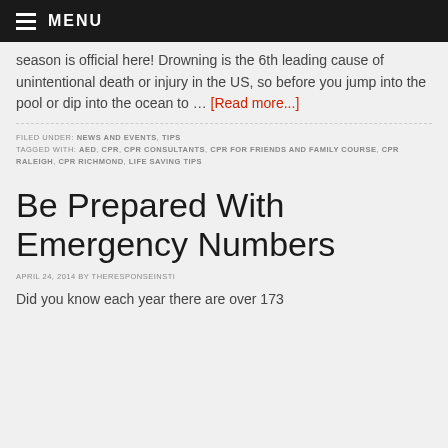MENU
season is official here! Drowning is the 6th leading cause of unintentional death or injury in the US, so before you jump into the pool or dip into the ocean to … [Read more...]
FILED UNDER: NEWS AND EVENTS, TIPS
TAGGED WITH: AED, CPR, CPR CONSULTANTS, CPR FOR FRIENDS AND FAMILY COURSE, CPR RALEIGH, CPR RICHMOND, LIFE SAVING TIPS
Be Prepared With Emergency Numbers
APRIL 24, 2014 BY THERESPONSEINSTI
Did you know each year there are over 173